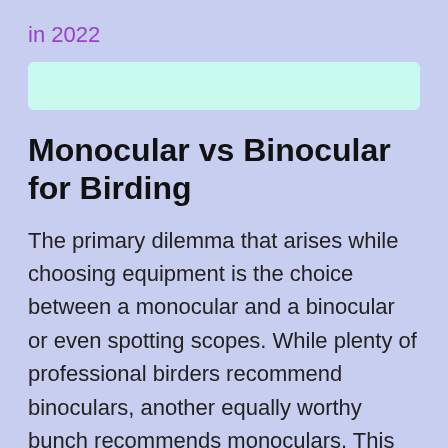in 2022
[Figure (other): Empty mint/light-cyan search bar input field]
Monocular vs Binocular for Birding
The primary dilemma that arises while choosing equipment is the choice between a monocular and a binocular or even spotting scopes. While plenty of professional birders recommend binoculars, another equally worthy bunch recommends monoculars. This only